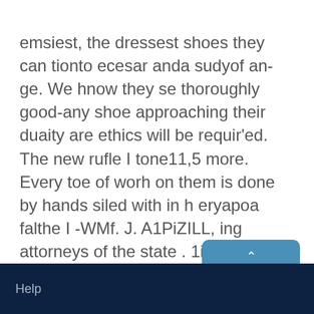emsiest, the dressest shoes they can tionto ecesar anda sudyof an-ge. We hnow they se thoroughly good-any shoe approaching their duaity are ethics will be requir'ed. The new rufle I tone11,5 more. Every toe of worh on them is done by hands siled with in h eryapoa falthe I -WMf. J. A1PiZILL, ing attorneys of the state . 1i 119 EAST WASHINGTON STREET.
Help